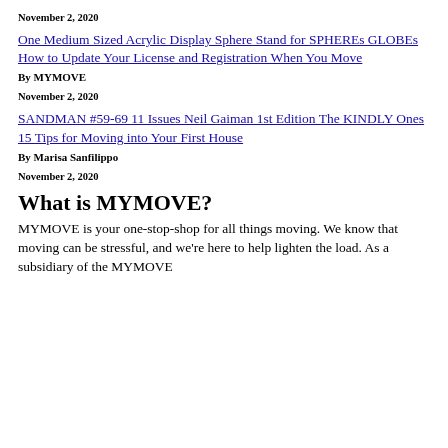November 2, 2020
One Medium Sized Acrylic Display Sphere Stand for SPHEREs GLOBEs
How to Update Your License and Registration When You Move
By MYMOVE
November 2, 2020
SANDMAN #59-69 11 Issues Neil Gaiman 1st Edition The KINDLY Ones
15 Tips for Moving into Your First House
By Marisa Sanfilippo
November 2, 2020
What is MYMOVE?
MYMOVE is your one-stop-shop for all things moving. We know that moving can be stressful, and we're here to help lighten the load. As a subsidiary of the MYMOVE...